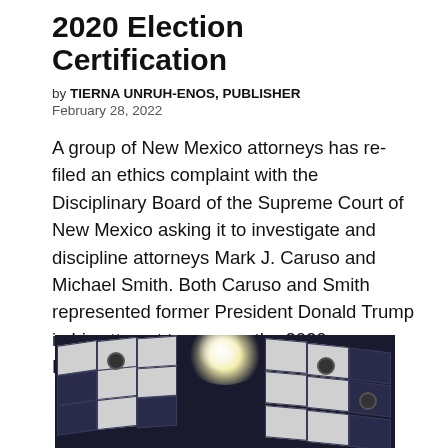2020 Election Certification
by TIERNA UNRUH-ENOS, PUBLISHER
February 28, 2022
A group of New Mexico attorneys has re-filed an ethics complaint with the Disciplinary Board of the Supreme Court of New Mexico asking it to investigate and discipline attorneys Mark J. Caruso and Michael Smith. Both Caruso and Smith represented former President Donald Trump in his attempt to reverse the 2020 Presidential election, in which […]
[Figure (photo): Interior ceiling photograph showing white ceiling tiles with lighting fixtures in a dark room, with a bright glare from a light source]